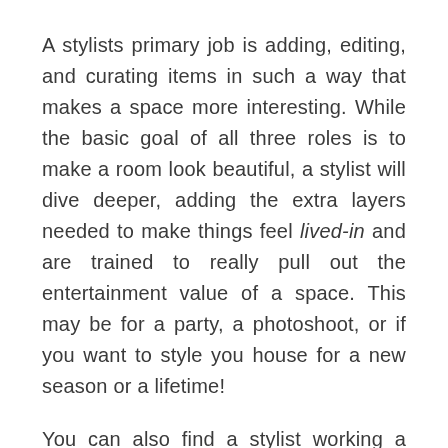A stylists primary job is adding, editing, and curating items in such a way that makes a space more interesting. While the basic goal of all three roles is to make a room look beautiful, a stylist will dive deeper, adding the extra layers needed to make things feel lived-in and are trained to really pull out the entertainment value of a space. This may be for a party, a photoshoot, or if you want to style you house for a new season or a lifetime!
You can also find a stylist working a photographer or film director to create beautiful pictures and locations/sets. They are also responsible for the smooth running of photoshoots when it comes to the styling and look of each...